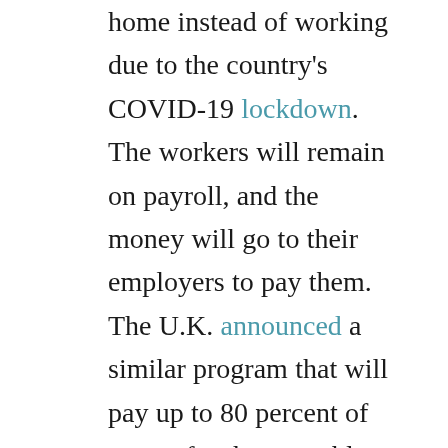home instead of working due to the country's COVID-19 lockdown. The workers will remain on payroll, and the money will go to their employers to pay them. The U.K. announced a similar program that will pay up to 80 percent of wages for those unable to work due to the COVID-19 crisis. The Netherlands will pay up to 90 percent of the total payrolls of employers who have lost more than 20 percent of revenue during the crisis; crucially, employers can only receive this benefit if they do not lay off workers. Each program has an initial expected duration of approximately three months, with further